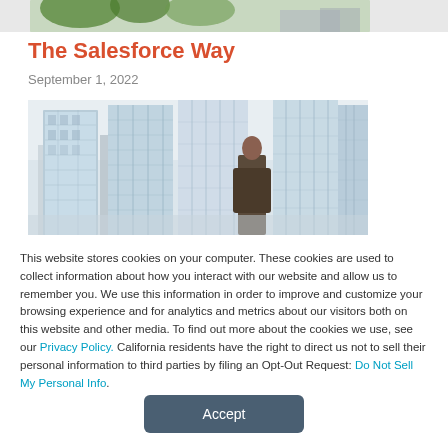[Figure (photo): Partial top banner image showing green foliage/nature]
The Salesforce Way
September 1, 2022
[Figure (photo): Business person standing at large windows overlooking city skyline with tall glass buildings]
This website stores cookies on your computer. These cookies are used to collect information about how you interact with our website and allow us to remember you. We use this information in order to improve and customize your browsing experience and for analytics and metrics about our visitors both on this website and other media. To find out more about the cookies we use, see our Privacy Policy. California residents have the right to direct us not to sell their personal information to third parties by filing an Opt-Out Request: Do Not Sell My Personal Info.
Accept